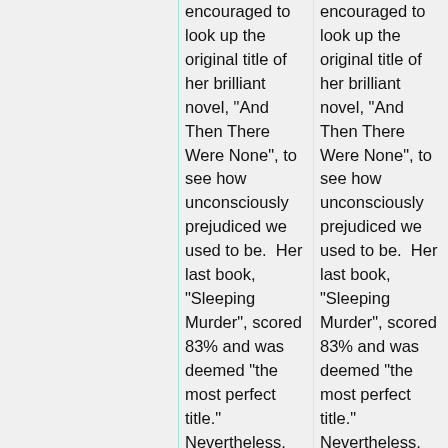encouraged to look up the original title of her brilliant novel, "And Then There Were None", to see how unconsciously prejudiced we used to be.  Her last book, "Sleeping Murder", scored 83% and was deemed "the most perfect title." Nevertheless, this Agatha Christie fan claims it can't compare with
encouraged to look up the original title of her brilliant novel, "And Then There Were None", to see how unconsciously prejudiced we used to be.  Her last book, "Sleeping Murder", scored 83% and was deemed "the most perfect title." Nevertheless, this Agatha Christie fan claims it can't compare with